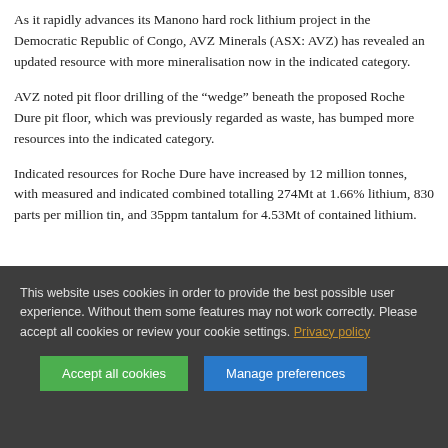As it rapidly advances its Manono hard rock lithium project in the Democratic Republic of Congo, AVZ Minerals (ASX: AVZ) has revealed an updated resource with more mineralisation now in the indicated category.
AVZ noted pit floor drilling of the “wedge” beneath the proposed Roche Dure pit floor, which was previously regarded as waste, has bumped more resources into the indicated category.
Indicated resources for Roche Dure have increased by 12 million tonnes, with measured and indicated combined totalling 274Mt at 1.66% lithium, 830 parts per million tin, and 35ppm tantalum for 4.53Mt of contained lithium.
This website uses cookies in order to provide the best possible user experience. Without them some features may not work correctly. Please accept all cookies or review your cookie settings. Privacy policy